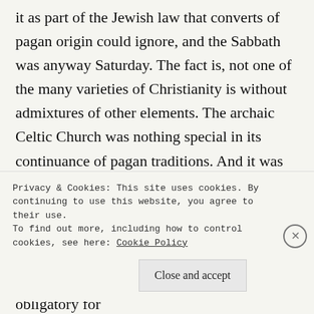it as part of the Jewish law that converts of pagan origin could ignore, and the Sabbath was anyway Saturday. The fact is, not one of the many varieties of Christianity is without admixtures of other elements. The archaic Celtic Church was nothing special in its continuance of pagan traditions. And it was in many ways truer to the original Christian teaching that the standardised and authoritarian creed that was pushed into these islands by Rome. Though celibacy had generally been seen as holy, it was never obligatory for
Privacy & Cookies: This site uses cookies. By continuing to use this website, you agree to their use.
To find out more, including how to control cookies, see here: Cookie Policy